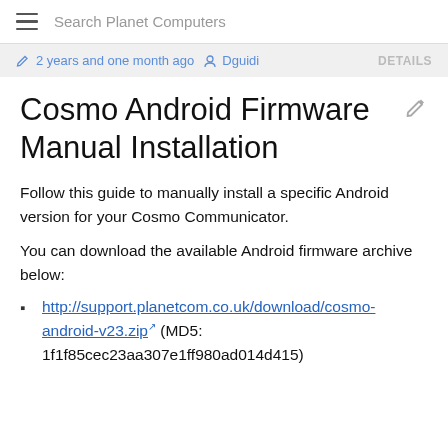Search Planet Computers
2 years and one month ago   Dguidi   DETAILS
Cosmo Android Firmware Manual Installation
Follow this guide to manually install a specific Android version for your Cosmo Communicator.
You can download the available Android firmware archive below:
http://support.planetcom.co.uk/download/cosmo-android-v23.zip (MD5: 1f1f85cec23aa307e1ff980ad014d415)